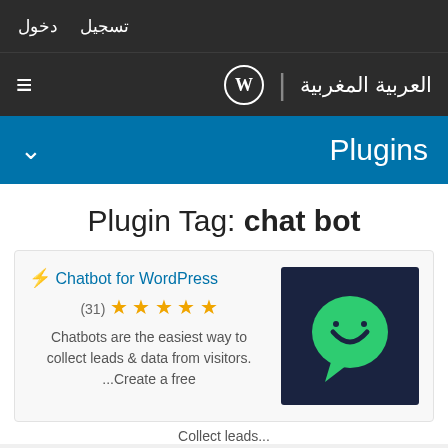تسجيل  دخول
العربية المغربية | WordPress logo
Plugins
Plugin Tag: chat bot
⚡ Chatbot for WordPress (31) ★★★★★ Chatbots are the easiest way to collect leads & data from visitors. ...Create a free
[Figure (logo): Chatbot for WordPress plugin logo — green chat bubble icon on dark navy background]